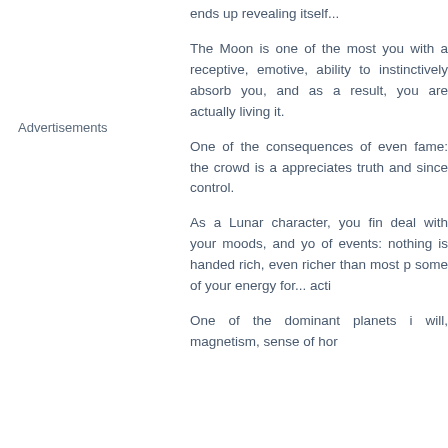ends up revealing itself...
Advertisements
The Moon is one of the most you with a receptive, emotive, ability to instinctively absorb you, and as a result, you are actually living it.
One of the consequences of even fame: the crowd is a appreciates truth and since control.
As a Lunar character, you fin deal with your moods, and yo of events: nothing is handed rich, even richer than most p some of your energy for... acti
One of the dominant planets i will, magnetism, sense of hor